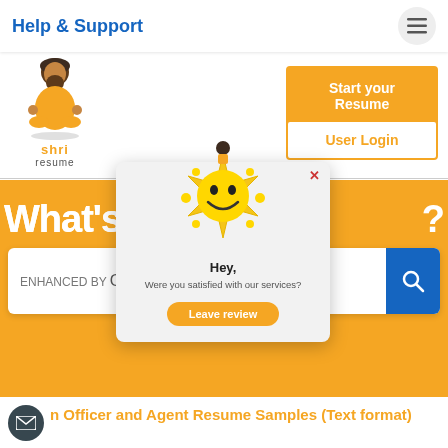Help & Support
[Figure (logo): Shri Resume logo: illustrated yogi figure in orange robes with text 'shri resume']
Start your Resume
User Login
What's your...?
[Figure (screenshot): Popup dialog with mascot character: 'Hey, Were you satisfied with our services?' with orange 'Leave review' button]
ENHANCED BY Google...
n Officer and Agent Resume Samples (Text format)